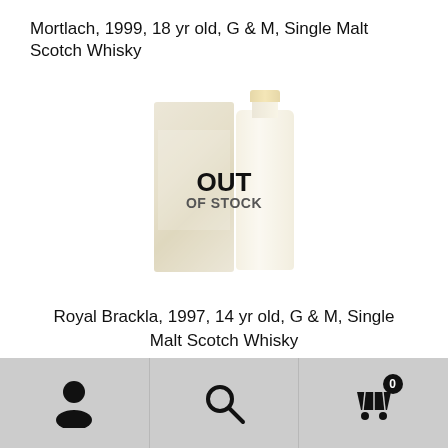Mortlach, 1999, 18 yr old, G & M, Single Malt Scotch Whisky
[Figure (photo): Product image of Royal Brackla whisky bottle with box, overlaid with OUT OF STOCK badge]
Royal Brackla, 1997, 14 yr old, G & M, Single Malt Scotch Whisky
[Figure (photo): Partially visible product image of another whisky bottle with box at the bottom of the page]
Navigation bar with account, search, and cart (0) icons